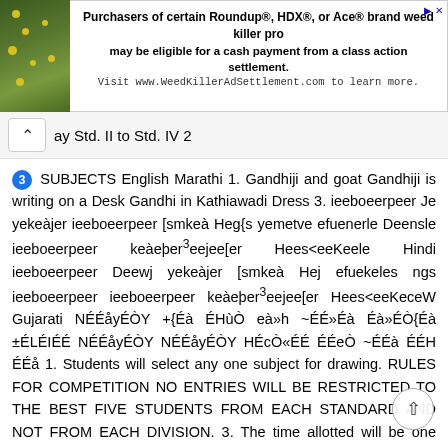[Figure (other): Advertisement banner: Purchasers of certain Roundup®, HDX®, or Ace® brand weed killer products may be eligible for a cash payment from a class action settlement. Visit www.WeedKillerAdSettlement.com to learn more.]
ay Std. II to Std. IV 2
3 SUBJECTS English Marathi 1. Gandhiji and goat Gandhiji is writing on a Desk Gandhi in Kathiawadi Dress 3. ieeboeerpeer Je yekeàjer ieeboeerpeer [smkeà Heg{s yemetve efuenerle Deensle ieeboeerpeer keàeper³eejee[er Hees<eeKeele Hindi ieeboeerpeer Deewj yekeàjer [smkeà Hej efuekeles ngs ieeboeerpeer ieeboeerpeer keàeper³eejee[er Hees<eeKeceW Gujarati NÉÉåyÉÒY +{Éà ÉHùÒ eà»h ~ÉÉ»Éà Éà»ÉÒ{Éà ±ÉLÉIÉÉ NÉÉåyÉÒY NÉÉåyÉÒY HÉcÒ«ÉÉ ÉÉeÒ ~ÉÉà ÉÉH ÉÉå 1. Students will select any one subject for drawing. RULES FOR COMPETITION NO ENTRIES WILL BE RESTRICTED TO THE BEST FIVE STUDENTS FROM EACH STANDARD AND NOT FROM EACH DIVISION. 3. The time allotted will be one hour 4. Size of the Paper will be 11 X Participants will have to bring their own Drawing material except Paper which will be supplied by the organizers. 6. The choice of colours, painting etc. is left to the competitors 7. Competitors should bring their DRAWING BOARDS. 8.